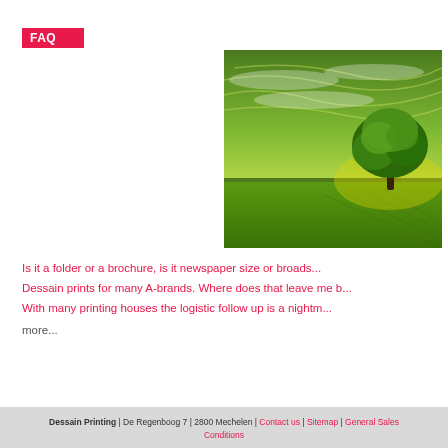FAQ
[Figure (photo): A solitary green tree standing in a lush green field under a dramatic green-toned sky with wispy clouds. The scene has a vivid, high-contrast green color treatment.]
Is it a folder or a brochure, is it newspaper size or broads...
Dessain prints for many A-brands. Where does that leave me b...
With many printing houses the logistic follow up is a nightm...
more...
Dessain Printing | De Regenboog 7 | 2800 Mechelen | Contact us | Sitemap | General Sales Conditions